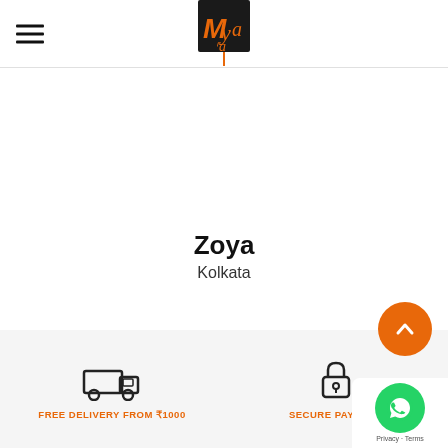[Figure (logo): Myra brand logo - black square with orange stylized text/figure and orange vertical line below]
Zoya
Kolkata
FREE DELIVERY FROM ₹1000
SECURE PAYMENT